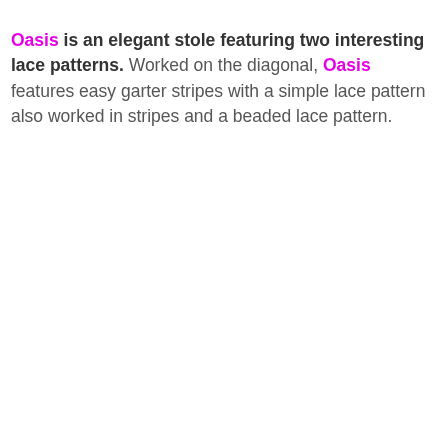Oasis is an elegant stole featuring two interesting lace patterns. Worked on the diagonal, Oasis features easy garter stripes with a simple lace pattern also worked in stripes and a beaded lace pattern.